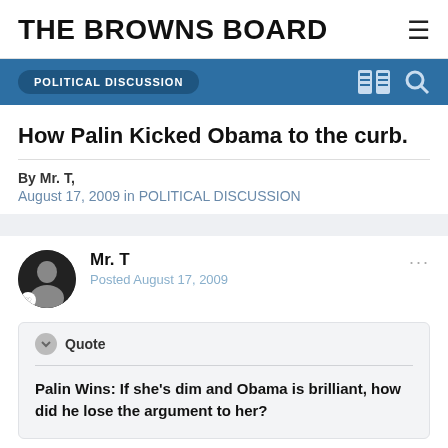THE BROWNS BOARD
POLITICAL DISCUSSION
How Palin Kicked Obama to the curb.
By Mr. T,
August 17, 2009 in POLITICAL DISCUSSION
Mr. T
Posted August 17, 2009
Quote
Palin Wins: If she's dim and Obama is brilliant, how did he lose the argument to her?